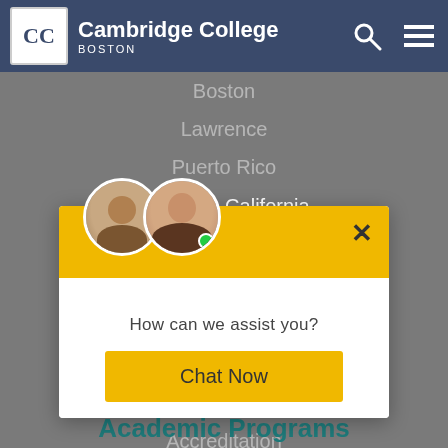Cambridge College BOSTON
Boston
Lawrence
Puerto Rico
Southern California
Springfield
About CC
Overview
CC Difference
Mission & Values
Accreditation
[Figure (screenshot): Chat popup widget with two agent avatars, a yellow header, close button, question 'How can we assist you?' and a yellow 'Chat Now' button]
How can we assist you?
Chat Now
Academic Programs